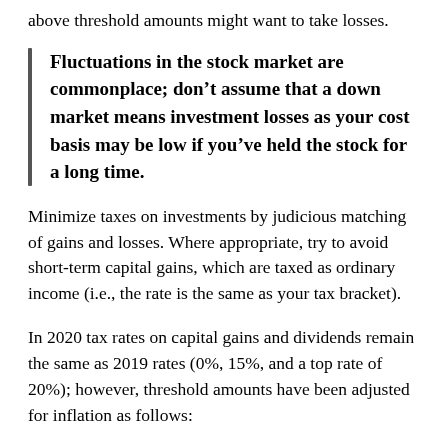above threshold amounts might want to take losses.
Fluctuations in the stock market are commonplace; don’t assume that a down market means investment losses as your cost basis may be low if you’ve held the stock for a long time.
Minimize taxes on investments by judicious matching of gains and losses. Where appropriate, try to avoid short-term capital gains, which are taxed as ordinary income (i.e., the rate is the same as your tax bracket).
In 2020 tax rates on capital gains and dividends remain the same as 2019 rates (0%, 15%, and a top rate of 20%); however, threshold amounts have been adjusted for inflation as follows: